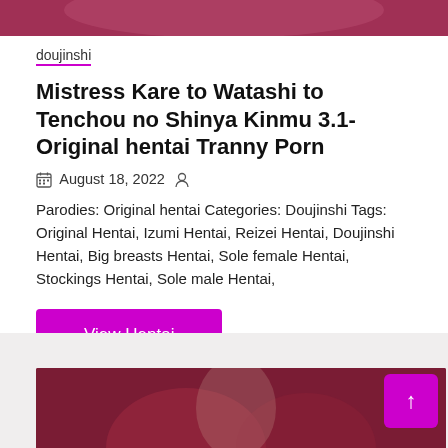[Figure (illustration): Top banner with illustrated anime-style character, dark reddish-pink background]
doujinshi
Mistress Kare to Watashi to Tenchou no Shinya Kinmu 3.1- Original hentai Tranny Porn
August 18, 2022
Parodies: Original hentai Categories: Doujinshi Tags: Original Hentai, Izumi Hentai, Reizei Hentai, Doujinshi Hentai, Big breasts Hentai, Sole female Hentai, Stockings Hentai, Sole male Hentai,
View Hentai
[Figure (illustration): Bottom section with anime-style illustration on dark reddish-maroon background, with scroll-to-top button]